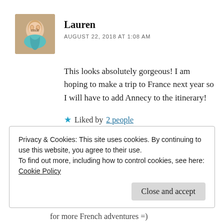[Figure (photo): Small square avatar photo of Lauren, a woman with light brown hair]
Lauren
AUGUST 22, 2018 AT 1:08 AM
This looks absolutely gorgeous! I am hoping to make a trip to France next year so I will have to add Annecy to the itinerary!
★ Liked by 2 people
↩ Reply
Privacy & Cookies: This site uses cookies. By continuing to use this website, you agree to their use.
To find out more, including how to control cookies, see here: Cookie Policy
Close and accept
for more French adventures =)